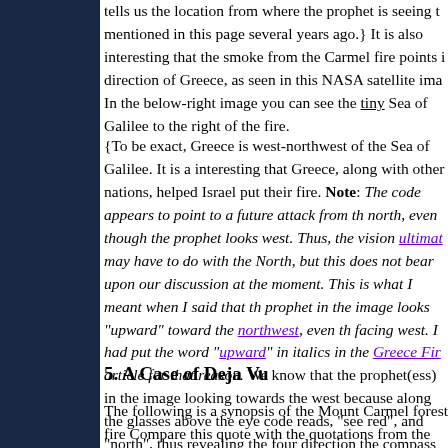tells us the location from where the prophet is seeing t mentioned in this page several years ago.} It is also interesting that the smoke from the Carmel fire points i direction of Greece, as seen in this NASA satellite ima In the below-right image you can see the tiny Sea of Galilee to the right of the fire.
{To be exact, Greece is west-northwest of the Sea of Galilee. It is a interesting that Greece, along with other nations, helped Israel put their fire. Note: The code appears to point to a future attack from th north, even though the prophet looks west. Thus, the vision ultimat may have to do with the North, but this does not bear upon our discussion at the moment. This is what I meant when I said that th prophet in the image looks "upward" toward the northwest, even th facing west. I had put the word "upward" in italics in the Greece Fir article for that reason. We know that the prophet(ess) in the image looking towards the west because along the glasses above the eye code reads, "see red", and "north", thus revealing the four direction the compass in the image.}
5. A Case of Deja Vu
The following is a synopsis of the Mount Carmel forest fire Compare this quote with the quotations from the bible after